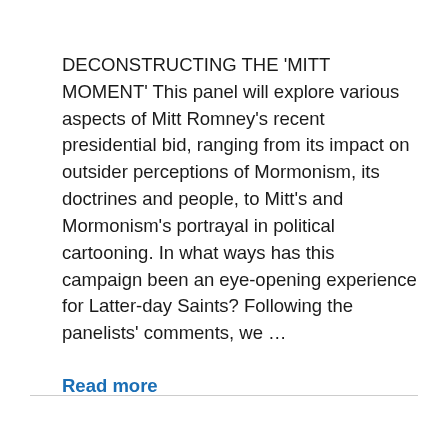DECONSTRUCTING THE 'MITT MOMENT' This panel will explore various aspects of Mitt Romney's recent presidential bid, ranging from its impact on outsider perceptions of Mormonism, its doctrines and people, to Mitt's and Mormonism's portrayal in political cartooning. In what ways has this campaign been an eye-opening experience for Latter-day Saints? Following the panelists' comments, we …
Read more